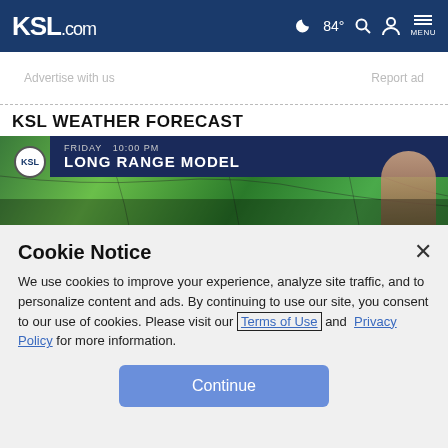KSL.com  84°  MENU
Advertise with us    Report ad
KSL WEATHER FORECAST
[Figure (screenshot): KSL weather broadcast screenshot showing 'LONG RANGE MODEL' for FRIDAY 10:00 PM, with green weather radar map and a female meteorologist on the right side.]
Cookie Notice
We use cookies to improve your experience, analyze site traffic, and to personalize content and ads. By continuing to use our site, you consent to our use of cookies. Please visit our Terms of Use and Privacy Policy for more information.
Continue